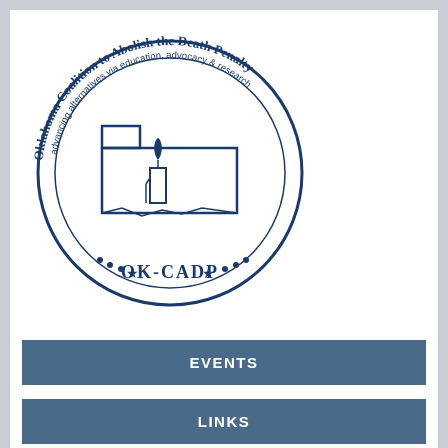[Figure (logo): Oklahoma Coalition to Abolish the Death Penalty (OK-CADP) circular logo in dark blue, featuring the outline of Oklahoma state with a candle, and text around the border reading 'Oklahoma Coalition to Abolish the Death Penalty' and 'advancing alternatives via education, advocacy & research' with 'OK-CADP' at the bottom.]
EVENTS
LINKS
Oklahoma ACLU
Death Penalty Focus